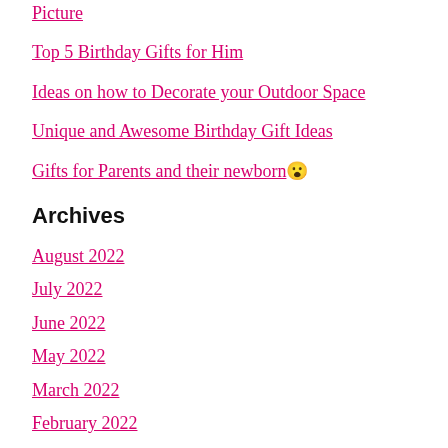Picture
Top 5 Birthday Gifts for Him
Ideas on how to Decorate your Outdoor Space
Unique and Awesome Birthday Gift Ideas
Gifts for Parents and their newborn 😮
Archives
August 2022
July 2022
June 2022
May 2022
March 2022
February 2022
January 2022